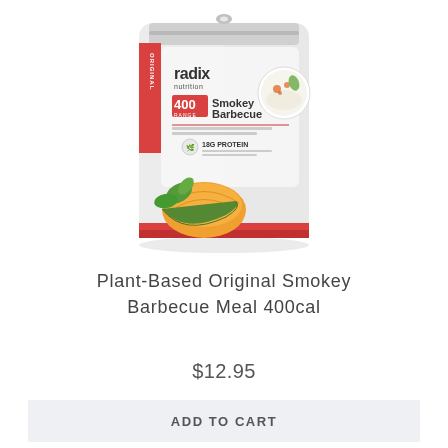[Figure (photo): Radix Nutrition product bag - Plant-Based Original Smokey Barbecue Meal 400cal, showing a silver/grey resealable pouch with red accents, 'radix nutrition' branding, '400 RANGE' label, 'Smokey Barbecue' text, with pumpkin/squash slices and green herbs in front]
Plant-Based Original Smokey Barbecue Meal 400cal
$12.95
ADD TO CART